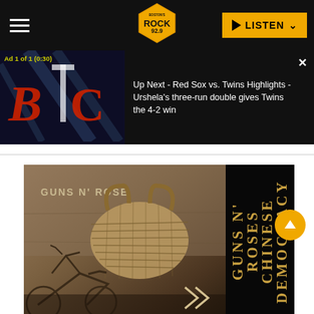Boston's Rock 92.9 — Navigation bar with hamburger menu, logo, and LISTEN button
Ad 1 of 1 (0:30)
Up Next - Red Sox vs. Twins Highlights - Urshela's three-run double gives Twins the 4-2 win
[Figure (screenshot): Guns N' Roses Chinese Democracy album cover showing a bicycle with a large wicker basket in front of graffiti reading GUNS N' ROSES, with a dark right panel showing vertical text GUNS N' ROSES CHINESE DEMOCRACY in gold serif font]